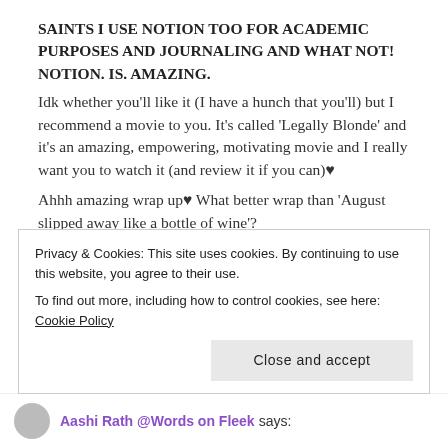SAINTS I USE NOTION TOO FOR ACADEMIC PURPOSES AND JOURNALING AND WHAT NOT! NOTION. IS. AMAZING.
Idk whether you'll like it (I have a hunch that you'll) but I recommend a movie to you. It's called 'Legally Blonde' and it's an amazing, empowering, motivating movie and I really want you to watch it (and review it if you can)♥
Ahhh amazing wrap up♥ What better wrap than 'August slipped away like a bottle of wine'?
Like
Privacy & Cookies: This site uses cookies. By continuing to use this website, you agree to their use.
To find out more, including how to control cookies, see here: Cookie Policy
Close and accept
Aashi Rath @Words on Fleek says: